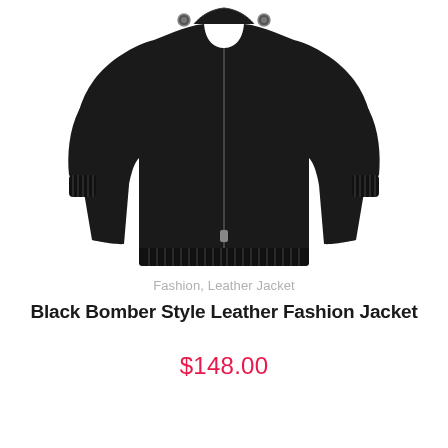[Figure (photo): Black bomber style leather jacket displayed on white background, showing front view with zipper, ribbed cuffs and hem, and snap buttons at collar]
Fashion, Leather Jacket
Black Bomber Style Leather Fashion Jacket
$148.00